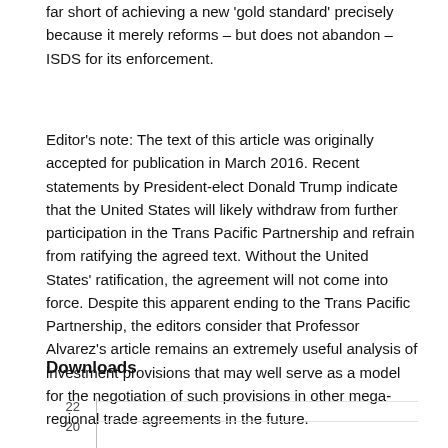far short of achieving a new 'gold standard' precisely because it merely reforms – but does not abandon – ISDS for its enforcement.
Editor's note: The text of this article was originally accepted for publication in March 2016. Recent statements by President-elect Donald Trump indicate that the United States will likely withdraw from further participation in the Trans Pacific Partnership and refrain from ratifying the agreed text. Without the United States' ratification, the agreement will not come into force. Despite this apparent ending to the Trans Pacific Partnership, the editors consider that Professor Alvarez's article remains an extremely useful analysis of investment provisions that may well serve as a model for the negotiation of such provisions in other mega-regional trade agreements in the future.
Downloads
[Figure (line-chart): Downloads chart with y-axis labels 22 and 20 visible, chart area with gridlines, clipped at bottom of page]